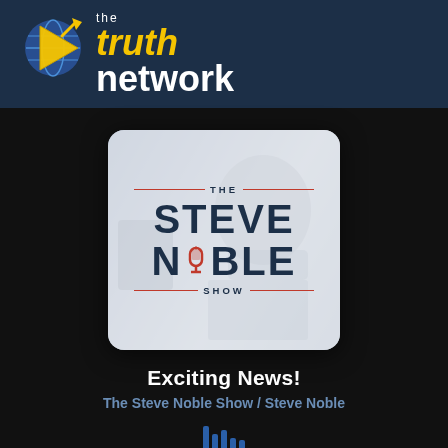[Figure (logo): The Truth Network logo with globe/arrow icon, 'the truth network' text in yellow and white]
[Figure (illustration): The Steve Noble Show podcast artwork - square image with rounded corners showing a radio host in background, with show logo overlay: 'THE STEVE NOBLE SHOW' with decorative red lines and microphone icon replacing the O in NOBLE]
Exciting News!
The Steve Noble Show / Steve Noble